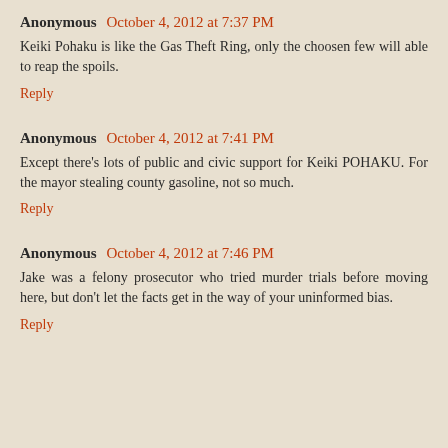Anonymous October 4, 2012 at 7:37 PM
Keiki Pohaku is like the Gas Theft Ring, only the choosen few will able to reap the spoils.
Reply
Anonymous October 4, 2012 at 7:41 PM
Except there's lots of public and civic support for Keiki POHAKU. For the mayor stealing county gasoline, not so much.
Reply
Anonymous October 4, 2012 at 7:46 PM
Jake was a felony prosecutor who tried murder trials before moving here, but don't let the facts get in the way of your uninformed bias.
Reply